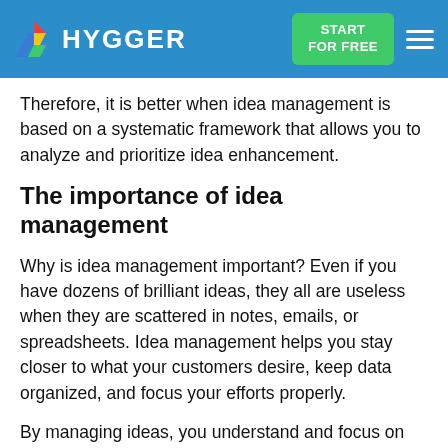HYGGER — START FOR FREE
Therefore, it is better when idea management is based on a systematic framework that allows you to analyze and prioritize idea enhancement.
The importance of idea management
Why is idea management important? Even if you have dozens of brilliant ideas, they all are useless when they are scattered in notes, emails, or spreadsheets. Idea management helps you stay closer to what your customers desire, keep data organized, and focus your efforts properly.
By managing ideas, you understand and focus on your customers' needs, which allows you to uncover what people really need and how to give it to them. The structured process of ideas management helps to bring joy to clients and more value to your…